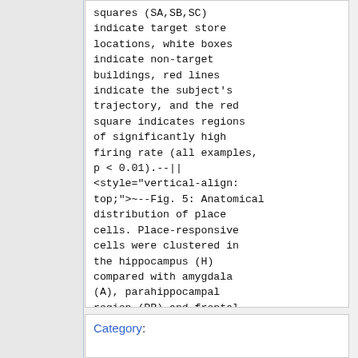squares (SA,SB,SC) indicate target store locations, white boxes indicate non-target buildings, red lines indicate the subject's trajectory, and the red square indicates regions of significantly high firing rate (all examples, p < 0.01).--|| <style="vertical-align: top;">~--Fig. 5: Anatomical distribution of place cells. Place-responsive cells were clustered in the hippocampus (H) compared with amygdala (A), parahippocampal region (PR) and frontal lobes (FR).--||
Category: